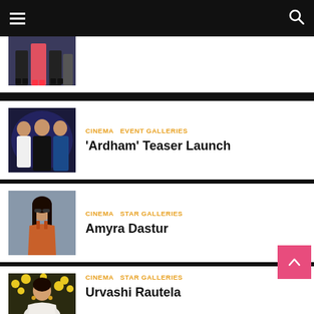Navigation bar with hamburger menu and search icon
[Figure (photo): Partial view of people standing on stage, lower half of bodies visible]
CINEMA  EVENT GALLERIES
'Ardham' Teaser Launch
[Figure (photo): Group photo at Ardham Teaser Launch event - man in white shirt, woman in black dress, man in blue shirt]
CINEMA  STAR GALLERIES
Amyra Dastur
[Figure (photo): Amyra Dastur in orange top at an airport or venue]
CINEMA  STAR GALLERIES
Urvashi Rautela
[Figure (photo): Urvashi Rautela in white outfit at an event with yellow flowers in background]